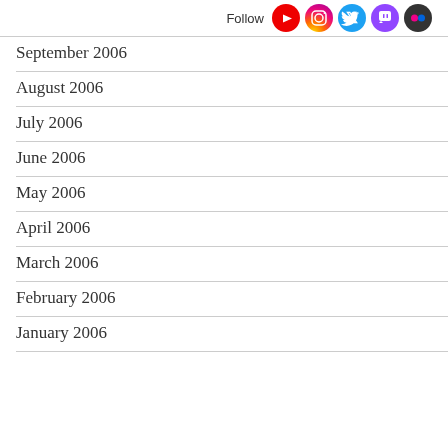Follow
September 2006
August 2006
July 2006
June 2006
May 2006
April 2006
March 2006
February 2006
January 2006